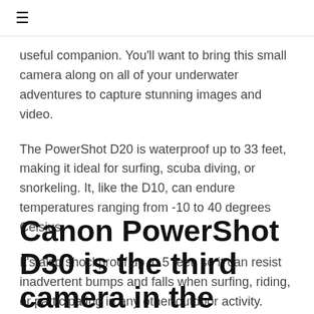≡
useful companion. You'll want to bring this small camera along on all of your underwater adventures to capture stunning images and video.
The PowerShot D20 is waterproof up to 33 feet, making it ideal for surfing, scuba diving, or snorkeling. It, like the D10, can endure temperatures ranging from -10 to 40 degrees Celsius.
It's also shockproof up to 5 feet, so it can resist inadvertent bumps and falls when surfing, riding, or participating in any other outdoor activity.
Canon PowerShot D30 is the third camera in the